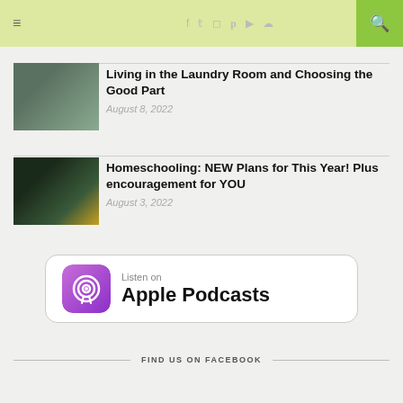Navigation header with hamburger menu, social icons (Facebook, Twitter, Instagram, Pinterest, YouTube, SoundCloud), and search button
[Figure (photo): Thumbnail image of a laundry room / bedroom with window view]
Living in the Laundry Room and Choosing the Good Part
August 8, 2022
[Figure (photo): Podcast artwork thumbnail with woman's photo and text 'NEW Plans for This Year! Plus encouragement for YOU, Simply Living Well Podcast']
Homeschooling: NEW Plans for This Year! Plus encouragement for YOU
August 3, 2022
[Figure (logo): Listen on Apple Podcasts badge with purple podcast icon]
FIND US ON FACEBOOK